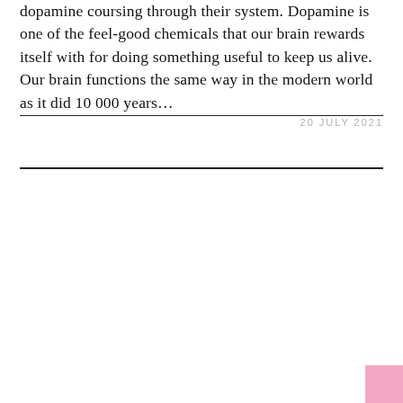dopamine coursing through their system. Dopamine is one of the feel-good chemicals that our brain rewards itself with for doing something useful to keep us alive. Our brain functions the same way in the modern world as it did 10 000 years…
20 JULY 2021
[Figure (other): Pink square decorative element in bottom-right corner]